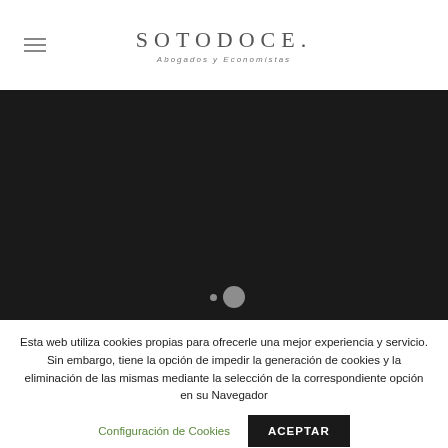SOTODOCE Abogados y Economistas
[Figure (photo): Dark hero image banner, nearly black with slight gradient, used as website hero/slider. Two carousel indicator dots visible at bottom center.]
Esta web utiliza cookies propias para ofrecerle una mejor experiencia y servicio. Sin embargo, tiene la opción de impedir la generación de cookies y la eliminación de las mismas mediante la selección de la correspondiente opción en su Navegador
Configuración de Cookies
ACEPTAR